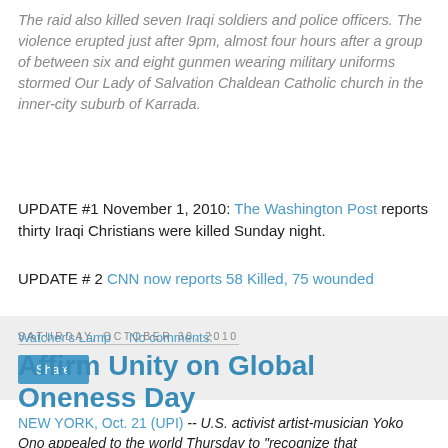The raid also killed seven Iraqi soldiers and police officers. The violence erupted just after 9pm, almost four hours after a group of between six and eight gunmen wearing military uniforms stormed Our Lady of Salvation Chaldean Catholic church in the inner-city suburb of Karrada.
UPDATE #1 November 1, 2010: The Washington Post reports thirty Iraqi Christians were killed Sunday night.
UPDATE # 2 CNN now reports 58 Killed, 75 wounded
Watcher's Lamp    No comments:
Share
Saturday, October 30, 2010
Affirm Unity on Global Oneness Day
NEW YORK, Oct. 21 (UPI) -- U.S. activist artist-musician Yoko Ono appealed to the world Thursday to "recognize that